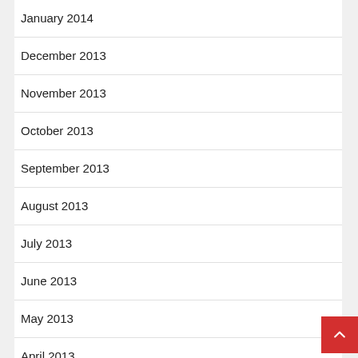January 2014
December 2013
November 2013
October 2013
September 2013
August 2013
July 2013
June 2013
May 2013
April 2013